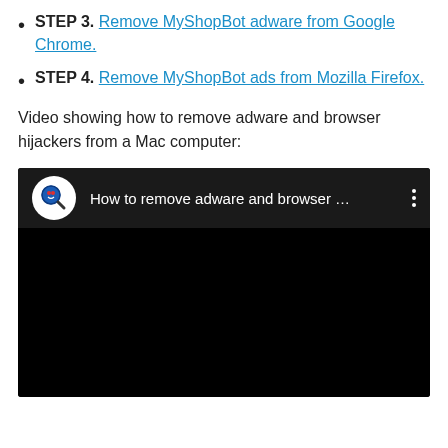STEP 3. Remove MyShopBot adware from Google Chrome.
STEP 4. Remove MyShopBot ads from Mozilla Firefox.
Video showing how to remove adware and browser hijackers from a Mac computer:
[Figure (screenshot): Embedded YouTube video thumbnail showing 'How to remove adware and browser ...' with a magnifying glass channel icon on a dark background.]